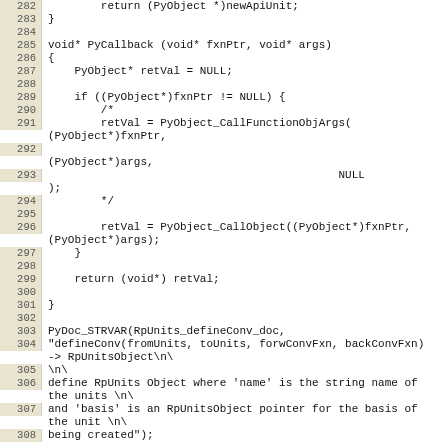Source code listing lines 282-308, showing PyCallback function and PyDoc_STRVAR definition in C/C++